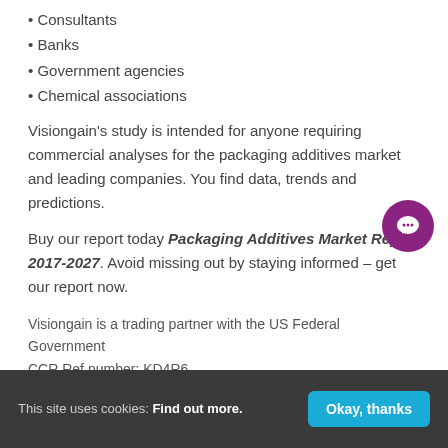• Consultants
• Banks
• Government agencies
• Chemical associations
Visiongain's study is intended for anyone requiring commercial analyses for the packaging additives market and leading companies. You find data, trends and predictions.
Buy our report today Packaging Additives Market Report 2017-2027. Avoid missing out by staying informed – get our report now.
Visiongain is a trading partner with the US Federal Government
CCR Ref number: KD4R6
This site uses cookies: Find out more. Okay, thanks